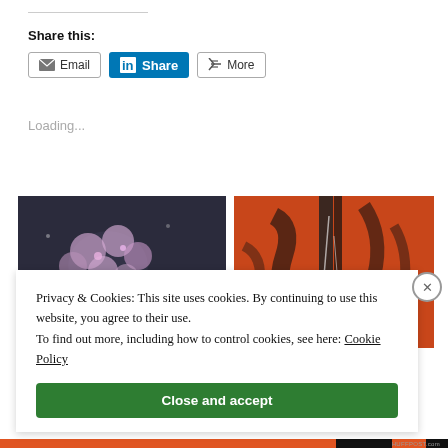Share this:
[Figure (screenshot): Share buttons: Email, LinkedIn Share, More]
Loading...
[Figure (photo): Two artwork images side by side: left shows pink flowers on dark background, right shows abstract orange/black brushstroke painting]
Privacy & Cookies: This site uses cookies. By continuing to use this website, you agree to their use.
To find out more, including how to control cookies, see here: Cookie Policy
Close and accept